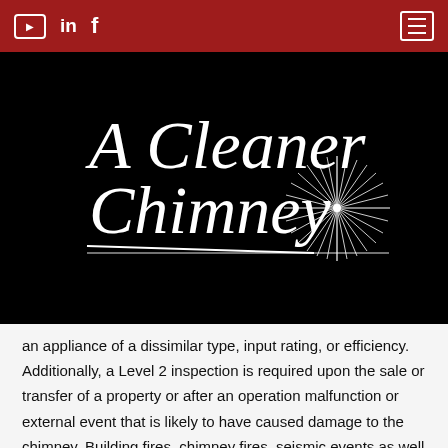YouTube | LinkedIn | Facebook | Menu
[Figure (logo): A Cleaner Chimney logo in white cursive script with a starburst/spark graphic on a black background]
an appliance of a dissimilar type, input rating, or efficiency. Additionally, a Level 2 inspection is required upon the sale or transfer of a property or after an operation malfunction or external event that is likely to have caused damage to the chimney. Building fires, chimney fires, seismic events as well as weather events are all indicators that this level of inspection is warranted.